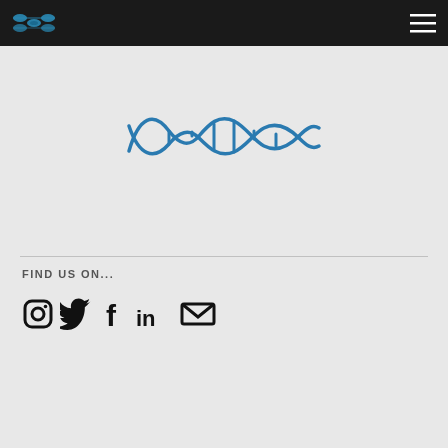NfX logo and menu
[Figure (logo): Blue DNA/wave logo graphic in center of page]
FIND US ON...
[Figure (infographic): Social media icons row: Instagram, Twitter, Facebook, LinkedIn, Email]